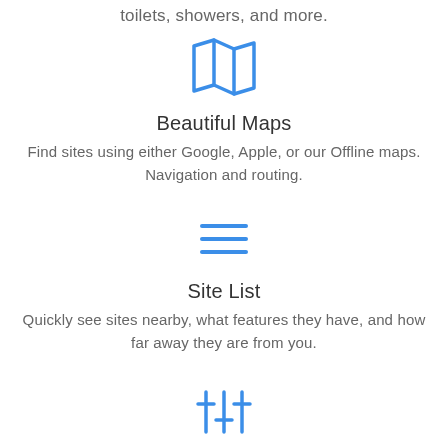toilets, showers, and more.
[Figure (illustration): Blue outline map/fold icon]
Beautiful Maps
Find sites using either Google, Apple, or our Offline maps. Navigation and routing.
[Figure (illustration): Blue hamburger/list menu icon with three horizontal lines]
Site List
Quickly see sites nearby, what features they have, and how far away they are from you.
[Figure (illustration): Blue filter/equalizer sliders icon]
Powerful Filters